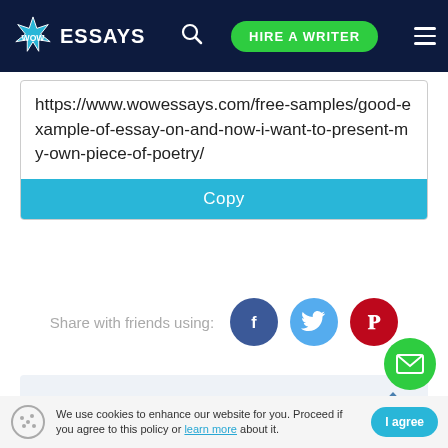[Figure (logo): WOW Essays logo with star burst icon and navigation bar including search, HIRE A WRITER button, and hamburger menu on dark navy background]
https://www.wowessays.com/free-samples/good-example-of-essay-on-and-now-i-want-to-present-my-own-piece-of-poetry/
Copy
Share with friends using:
[Figure (infographic): Three social share buttons: Facebook (dark blue circle with f), Twitter (light blue circle with bird), Pinterest (red circle with P)]
Removal Request
We use cookies to enhance our website for you. Proceed if you agree to this policy or learn more about it.